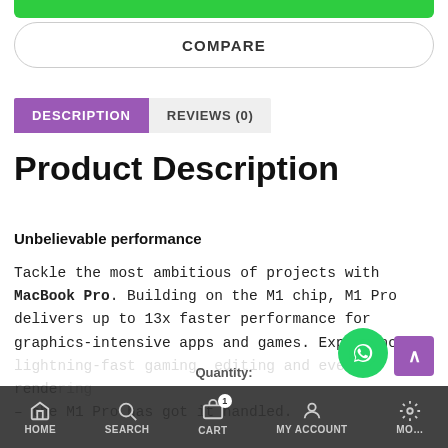[Figure (screenshot): Partial green Add to Cart button visible at top, cropped]
COMPARE
DESCRIPTION
REVIEWS (0)
Product Description
Unbelievable performance
Tackle the most ambitious of projects with MacBook Pro. Building on the M1 chip, M1 Pro delivers up to 13x faster performance for graphics-intensive apps and games. Experience lightning-fast gaming, editing and even 4K rendering – the M1 Pro has got it handled.
HOME   SEARCH   CART 1   MY ACCOUNT   MORE